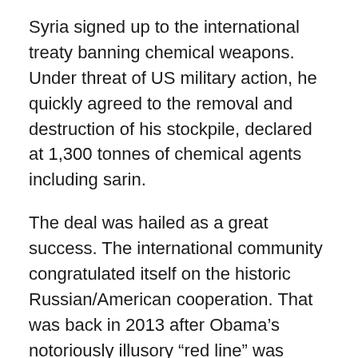Syria signed up to the international treaty banning chemical weapons. Under threat of US military action, he quickly agreed to the removal and destruction of his stockpile, declared at 1,300 tonnes of chemical agents including sarin.
The deal was hailed as a great success. The international community congratulated itself on the historic Russian/American cooperation. That was back in 2013 after Obama’s notoriously illusory “red line” was crossed by the Syrian regime dropping sarin on the agricultural eastern Ghoutasuburb of Damascus. 1,500 died overnight. Only twice in history had sarin been used before this week: first in Halabja by Saddam Hussein on the Kurds in 1988, the second in Japan in 1995 by a new religious movement on the Tokyo subway. There have been nine